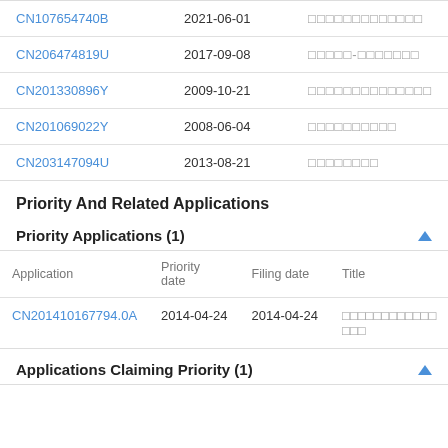| Application | Date | Title |
| --- | --- | --- |
| CN107654740B | 2021-06-01 | □□□□□□□□□□□□□ |
| CN206474819U | 2017-09-08 | □□□□□-□□□□□□□ |
| CN201330896Y | 2009-10-21 | □□□□□□□□□□□□□□ |
| CN201069022Y | 2008-06-04 | □□□□□□□□□□ |
| CN203147094U | 2013-08-21 | □□□□□□□□ |
Priority And Related Applications
Priority Applications (1)
| Application | Priority date | Filing date | Title |
| --- | --- | --- | --- |
| CN201410167794.0A | 2014-04-24 | 2014-04-24 | □□□□□□□□□□□□□□□ |
Applications Claiming Priority (1)